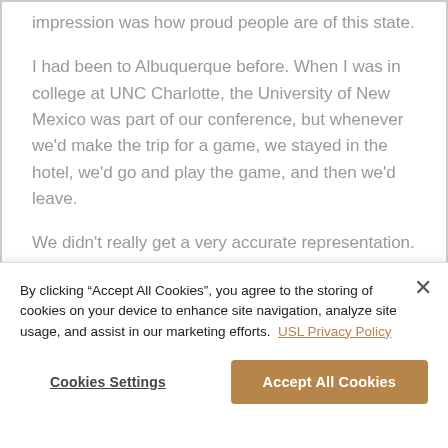impression was how proud people are of this state.
I had been to Albuquerque before. When I was in college at UNC Charlotte, the University of New Mexico was part of our conference, but whenever we'd make the trip for a game, we stayed in the hotel, we'd go and play the game, and then we'd leave.
We didn't really get a very accurate representation.
I wish we had, because I just remember early on the
By clicking "Accept All Cookies", you agree to the storing of cookies on your device to enhance site navigation, analyze site usage, and assist in our marketing efforts. USL Privacy Policy